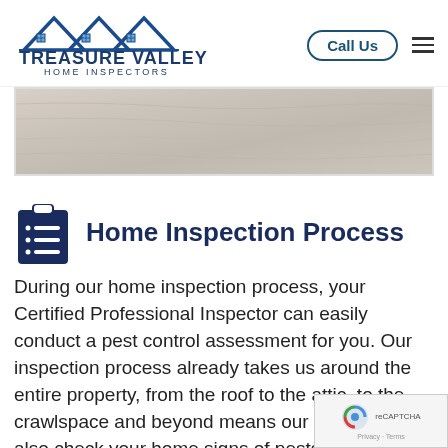[Figure (logo): Treasure Valley Home Inspectors logo with house/roof illustration in navy blue]
[Figure (photo): Wood grain texture banner image in light gray/beige tones]
Home Inspection Process
During our home inspection process, your Certified Professional Inspector can easily conduct a pest control assessment for you. Our inspection process already takes us around the entire property, from the roof to the attic, to the crawlspace and beyond means our inspector will also check your home signs of pests while conducting the process.